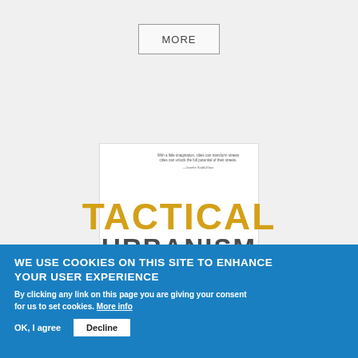[Figure (other): A 'MORE' button displayed in a light gray top section of a webpage]
[Figure (illustration): Book cover of 'Tactical Urbanism: Short-term Action for Long-term Change' shown on a webpage. The title TACTICAL is in large yellow/gold stencil-style letters, URBANISM in dark gray, and subtitle in red italic text. A small quote appears in the top right corner of the cover.]
WE USE COOKIES ON THIS SITE TO ENHANCE YOUR USER EXPERIENCE
By clicking any link on this page you are giving your consent for us to set cookies. More info
OK, I agree
Decline